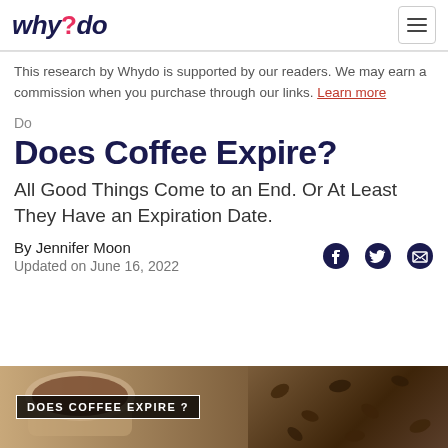why!do
This research by Whydo is supported by our readers. We may earn a commission when you purchase through our links. Learn more
Do
Does Coffee Expire?
All Good Things Come to an End. Or At Least They Have an Expiration Date.
By Jennifer Moon
Updated on June 16, 2022
[Figure (photo): Hero image showing coffee cup and coffee beans with text overlay reading DOES COFFEE EXPIRE?]